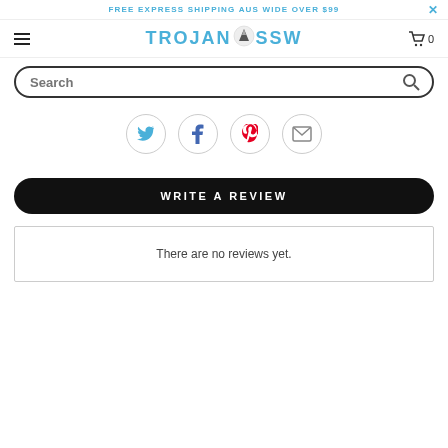FREE EXPRESS SHIPPING AUS WIDE OVER $99
[Figure (logo): TROJAN SSW logo with mountain icon]
[Figure (screenshot): Search input box with Search placeholder text and search icon]
[Figure (infographic): Social sharing icons: Twitter, Facebook, Pinterest, Email]
WRITE A REVIEW
There are no reviews yet.